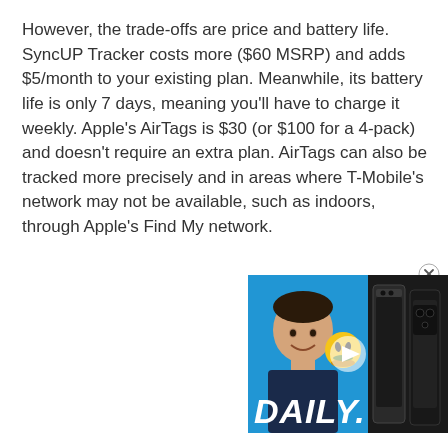However, the trade-offs are price and battery life. SyncUP Tracker costs more ($60 MSRP) and adds $5/month to your existing plan. Meanwhile, its battery life is only 7 days, meaning you'll have to charge it weekly. Apple's AirTags is $30 (or $100 for a 4-pack) and doesn't require an extra plan. AirTags can also be tracked more precisely and in areas where T-Mobile's network may not be available, such as indoors, through Apple's Find My network.
[Figure (screenshot): Video thumbnail showing a man smiling with emoji, two Google Pixel phones, a play button in the center, and 'DAILY.' text at the bottom. Blue background.]